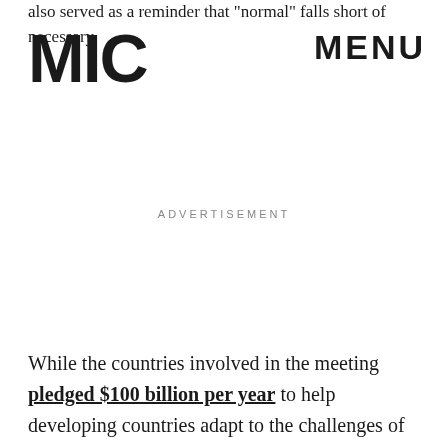also served as a reminder that "normal" falls short of necessary.
[Figure (logo): MIC logo — bold block letters]
MENU
ADVERTISEMENT
While the countries involved in the meeting pledged $100 billion per year to help developing countries adapt to the challenges of climate change, there was little in way of specific solutions or promises beyond that. Instead, the world leaders offered recognition that climate change is a problem and something needs to be done. Gosh, if only any of heads of state for